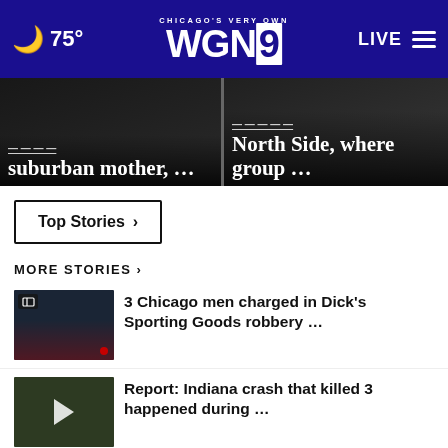CHICAGO'S VERY OWN WGN9 | 75° | LIVE
[Figure (screenshot): Partially visible featured story left: suburban mother, ...]
[Figure (screenshot): Partially visible featured story right: North Side, where group ...]
Top Stories ›
MORE STORIES ›
3 Chicago men charged in Dick's Sporting Goods robbery …
Report: Indiana crash that killed 3 happened during …
NASA rocket launch to pay tribute to Chicago space …